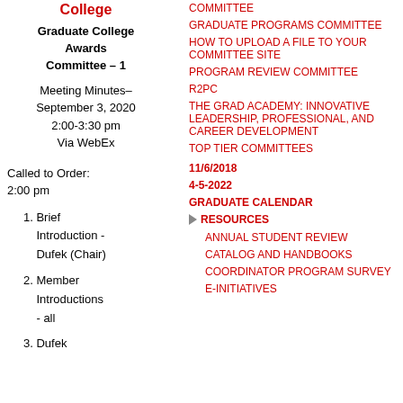College
Graduate College Awards Committee – 1
Meeting Minutes– September 3, 2020 2:00-3:30 pm Via WebEx
Called to Order: 2:00 pm
1. Brief Introduction - Dufek (Chair)
2. Member Introductions - all
3. Dufek
COMMITTEE
GRADUATE PROGRAMS COMMITTEE
HOW TO UPLOAD A FILE TO YOUR COMMITTEE SITE
PROGRAM REVIEW COMMITTEE
R2PC
THE GRAD ACADEMY: INNOVATIVE LEADERSHIP, PROFESSIONAL, AND CAREER DEVELOPMENT
TOP TIER COMMITTEES
11/6/2018
4-5-2022
GRADUATE CALENDAR
RESOURCES
ANNUAL STUDENT REVIEW
CATALOG AND HANDBOOKS
COORDINATOR PROGRAM SURVEY
E-INITIATIVES